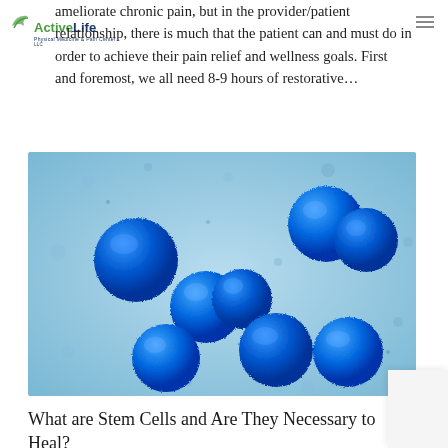Active Life Physical Medicine & Pain Center LLC
ameliorate chronic pain, but in the provider/patient relationship, there is much that the patient can and must do in order to achieve their pain relief and wellness goals. First and foremost, we all need 8-9 hours of restorative...
[Figure (photo): Microscopic image of blue spherical stem cells on a light blue background]
What are Stem Cells and Are They Necessary to Heal?